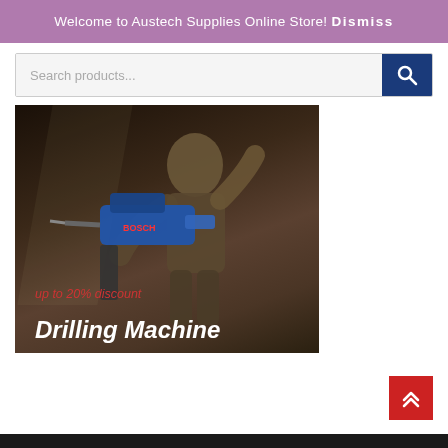Welcome to Austech Supplies Online Store! Dismiss
[Figure (screenshot): Search bar with search icon button on dark blue background]
[Figure (photo): Worker holding a Bosch drilling machine in industrial setting, with overlay text 'up to 20% discount' and 'Drilling Machine']